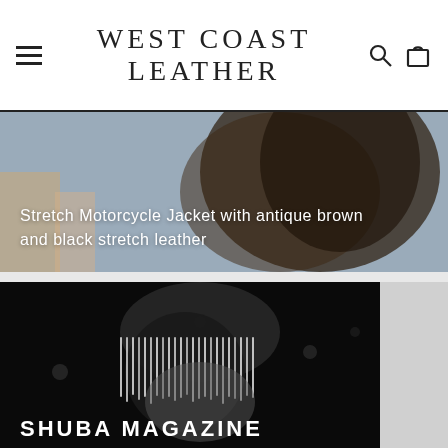WEST COAST LEATHER
[Figure (photo): Upper portion of a fashion photo showing a model wearing a stretch motorcycle jacket with antique brown and black stretch leather, with text overlay]
Stretch Motorcycle Jacket with antique brown and black stretch leather
[Figure (photo): Black and white fashion photo from Shuba Magazine showing a model wearing a leather fringe jacket, shot in dark dramatic lighting]
SHUBA MAGAZINE